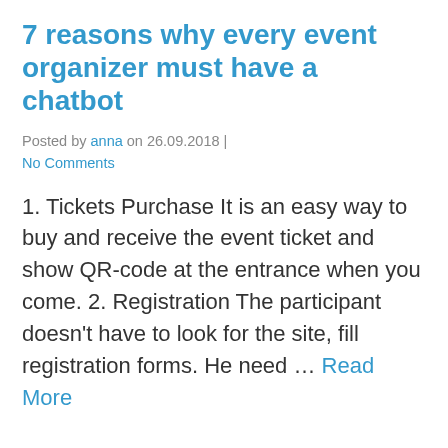7 reasons why every event organizer must have a chatbot
Posted by anna on 26.09.2018 | No Comments
1. Tickets Purchase It is an easy way to buy and receive the event ticket and show QR-code at the entrance when you come. 2. Registration The participant doesn't have to look for the site, fill registration forms. He need … Read More